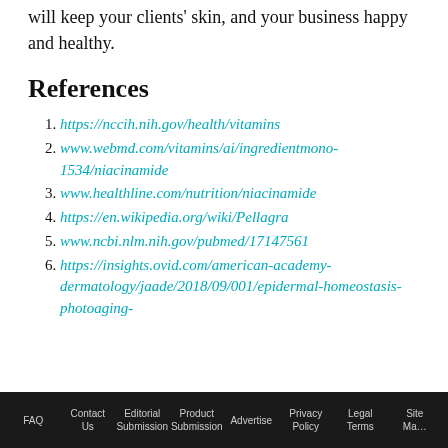will keep your clients' skin, and your business happy and healthy.
References
https://nccih.nih.gov/health/vitamins
www.webmd.com/vitamins/ai/ingredientmono-1534/niacinamide
www.healthline.com/nutrition/niacinamide
https://en.wikipedia.org/wiki/Pellagra
www.ncbi.nlm.nih.gov/pubmed/17147561
https://insights.ovid.com/american-academy-dermatology/jaade/2018/09/001/epidermal-homeostasis-photoaging-
FAQ  Contact Us  Editorial Submission  Product Submission  Advertise  Privacy Policy  Legal Terms  Site Map